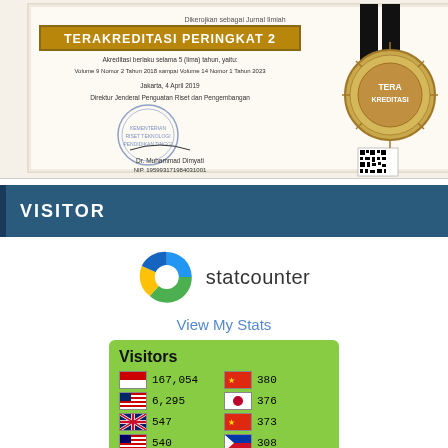[Figure (photo): Indonesian academic journal accreditation certificate 'TERAKREDITASI PERINGKAT 2' with official stamp and signature by Dr. Muhammad Dimyati, along with a gold medal/ribbon badge showing TERAKREDITASI and a QR code]
VISITOR
[Figure (logo): StatCounter logo - circular icon with blue, green, and yellow sections with white center hole, next to text 'statcounter']
View My Stats
[Figure (screenshot): Visitors widget with green background showing country flags and visitor counts: Indonesia 167,054; USA 6,295; UK 547; Malaysia 540; India 440; China(?) 380; Japan 376; China 373; Philippines 308; Netherlands 245. Pageviews: 506,525]